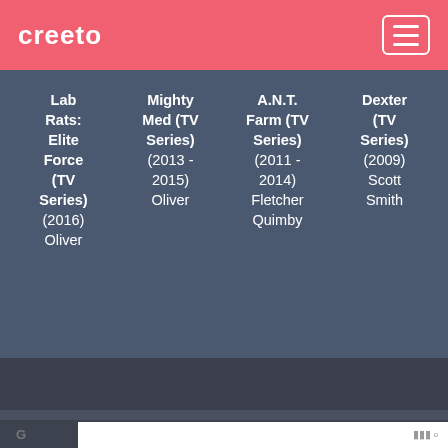creeto
| Lab Rats: Elite Force (TV Series) (2016) Oliver | Mighty Med (TV Series) (2013 - 2015) Oliver | A.N.T. Farm (TV Series) (2011 - 2014) Fletcher Quimby | Dexter (TV Series) (2009) Scott Smith |
| --- | --- | --- | --- |